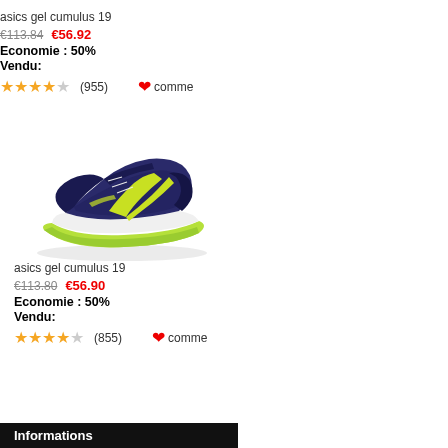asics gel cumulus 19
€113.84  €56.92
Economie : 50%
Vendu:
★★★★☆ (955)  ❤comme
[Figure (photo): ASICS Gel Cumulus 19 running shoe in navy blue with yellow-green accents and black laces]
asics gel cumulus 19
€113.80  €56.90
Economie : 50%
Vendu:
★★★★☆ (855)  ❤comme
Informations